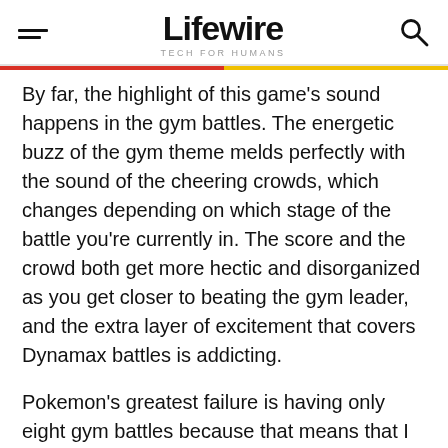Lifewire | TECH FOR HUMANS
By far, the highlight of this game's sound happens in the gym battles. The energetic buzz of the gym theme melds perfectly with the sound of the cheering crowds, which changes depending on which stage of the battle you're currently in. The score and the crowd both get more hectic and disorganized as you get closer to beating the gym leader, and the extra layer of excitement that covers Dynamax battles is addicting.
Pokemon's greatest failure is having only eight gym battles because that means that I can only experience the gym battle